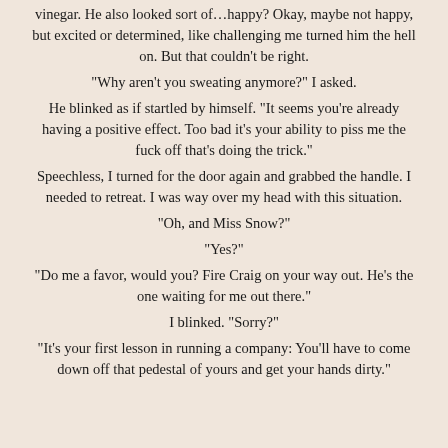vinegar. He also looked sort of…happy? Okay, maybe not happy, but excited or determined, like challenging me turned him the hell on. But that couldn't be right.
“Why aren’t you sweating anymore?” I asked.
He blinked as if startled by himself. “It seems you’re already having a positive effect. Too bad it’s your ability to piss me the fuck off that’s doing the trick.”
Speechless, I turned for the door again and grabbed the handle. I needed to retreat. I was way over my head with this situation.
“Oh, and Miss Snow?”
“Yes?”
“Do me a favor, would you? Fire Craig on your way out. He’s the one waiting for me out there.”
I blinked. “Sorry?”
“It’s your first lesson in running a company: You’ll have to come down off that pedestal of yours and get your hands dirty.”